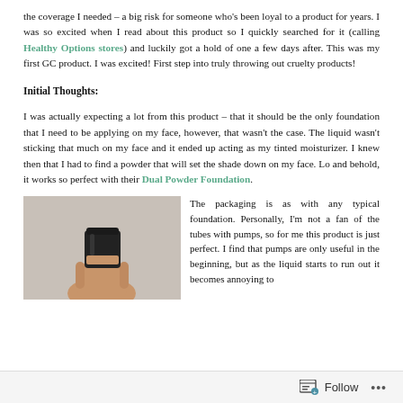the coverage I needed – a big risk for someone who's been loyal to a product for years. I was so excited when I read about this product so I quickly searched for it (calling Healthy Options stores) and luckily got a hold of one a few days after. This was my first GC product. I was excited! First step into truly throwing out cruelty products!
Initial Thoughts:
I was actually expecting a lot from this product – that it should be the only foundation that I need to be applying on my face, however, that wasn't the case. The liquid wasn't sticking that much on my face and it ended up acting as my tinted moisturizer. I knew then that I had to find a powder that will set the shade down on my face. Lo and behold, it works so perfect with their Dual Powder Foundation.
[Figure (photo): A hand holding a small dark cylindrical foundation bottle against a light gray background.]
The packaging is as with any typical foundation. Personally, I'm not a fan of the tubes with pumps, so for me this product is just perfect. I find that pumps are only useful in the beginning, but as the liquid starts to run out it becomes annoying to
Follow ···